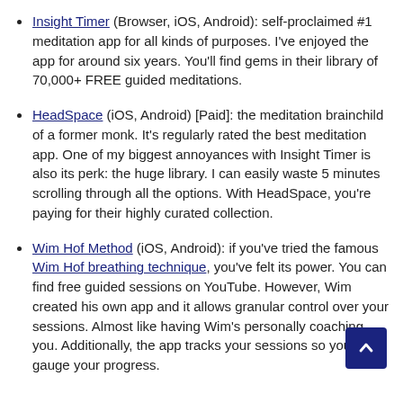Insight Timer (Browser, iOS, Android): self-proclaimed #1 meditation app for all kinds of purposes. I've enjoyed the app for around six years. You'll find gems in their library of 70,000+ FREE guided meditations.
HeadSpace (iOS, Android) [Paid]: the meditation brainchild of a former monk. It's regularly rated the best meditation app. One of my biggest annoyances with Insight Timer is also its perk: the huge library. I can easily waste 5 minutes scrolling through all the options. With HeadSpace, you're paying for their highly curated collection.
Wim Hof Method (iOS, Android): if you've tried the famous Wim Hof breathing technique, you've felt its power. You can find free guided sessions on YouTube. However, Wim created his own app and it allows granular control over your sessions. Almost like having Wim's personally coaching you. Additionally, the app tracks your sessions so you can gauge your progress.